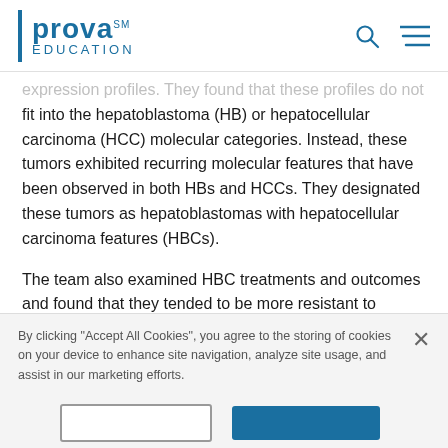Prova Education
expression profiles. They found that these profiles do not fit into the hepatoblastoma (HB) or hepatocellular carcinoma (HCC) molecular categories. Instead, these tumors exhibited recurring molecular features that have been observed in both HBs and HCCs. They designated these tumors as hepatoblastomas with hepatocellular carcinoma features (HBCs).
The team also examined HBC treatments and outcomes and found that they tended to be more resistant to standard chemotherapy and have poor outcomes when
By clicking "Accept All Cookies", you agree to the storing of cookies on your device to enhance site navigation, analyze site usage, and assist in our marketing efforts.